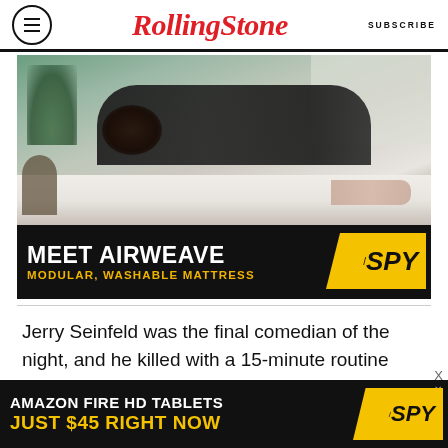Rolling Stone | SUBSCRIBE
[Figure (photo): Advertisement: Person lying on an Airweave modular washable mattress. Text reads: MEET AIRWEAVE / MODULAR, WASHABLE MATTRESS with SPY logo badge.]
Jerry Seinfeld was the final comedian of the night, and he killed with a 15-minute routine that dealt with his standard topics of raising children
[Figure (photo): Advertisement banner: AMAZON FIRE HD TABLETS JUST $45 RIGHT NOW with SPY logo badge.]